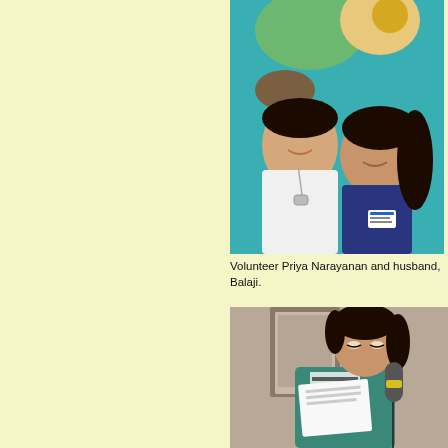[Figure (photo): Volunteer Priya Narayanan and her husband Balaji posing together in front of a colorful mural/artwork with a frog motif. Priya is wearing a navy blue top with a name badge. Balaji is wearing a white shirt with dog tags.]
Volunteer Priya Narayanan and husband, Balaji.
[Figure (photo): Partially visible photo on the right side showing artwork with blossoms and text reading 'Blossoms bu... A lacey whi... reigns in Fra...' and credit 'Poet Sus... Photo by...']
Poet Sus... Photo by...
[Figure (photo): A woman with dark hair holding a microphone and reading from papers. She is wearing a teal/green top with a black and white patterned scarf. The background shows a doorway or mirror.]